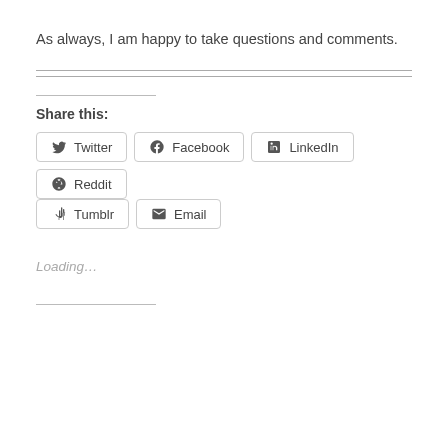As always, I am happy to take questions and comments.
Share this:
Twitter  Facebook  LinkedIn  Reddit  Tumblr  Email
Loading...